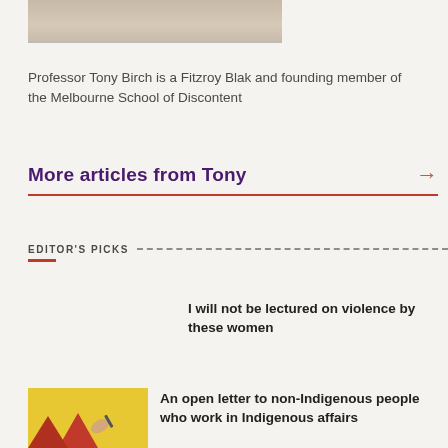[Figure (photo): Partial photo showing a textured fabric or skin surface, cropped at the top of the page]
Professor Tony Birch is a Fitzroy Blak and founding member of the Melbourne School of Discontent
More articles from Tony
EDITOR'S PICKS
I will not be lectured on violence by these women
[Figure (illustration): Yellow background with red geometric shapes and a hand holding a pen illustration]
An open letter to non-Indigenous people who work in Indigenous affairs